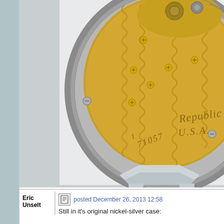[Figure (photo): Close-up photograph of a pocket watch movement showing a gold-toned plate with decorative zigzag engraving, multiple gold screws, and the text 'REPUBLIC U.S.A.' and serial number '71057' engraved on the movement. The watch is in a silver nickel case with knurled edge, resting on a clear stand against a white background.]
Eric Unselt
posted December 26, 2013 12:58
Still in it's original nickel-silver case: